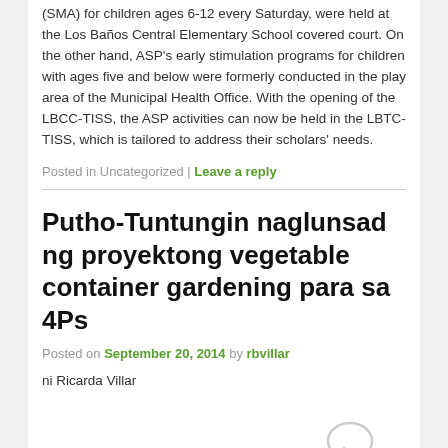(SMA) for children ages 6-12 every Saturday, were held at the Los Baños Central Elementary School covered court. On the other hand, ASP's early stimulation programs for children with ages five and below were formerly conducted in the play area of the Municipal Health Office. With the opening of the LBCC-TISS, the ASP activities can now be held in the LBTC-TISS, which is tailored to address their scholars' needs.
Posted in Uncategorized | Leave a reply
Putho-Tuntungin naglunsad ng proyektong vegetable container gardening para sa 4Ps
Posted on September 20, 2014 by rbvillar
ni Ricarda Villar